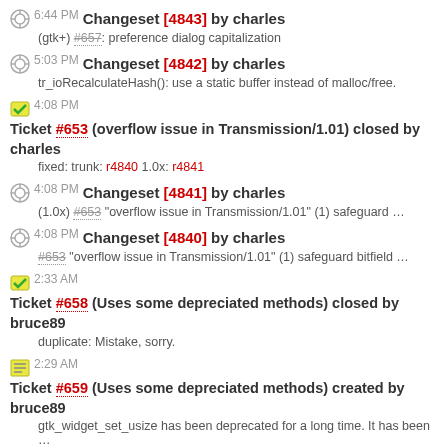6:44 PM Changeset [4843] by charles
(gtk+) #657: preference dialog capitalization
5:03 PM Changeset [4842] by charles
tr_ioRecalculateHash(): use a static buffer instead of malloc/free.
4:08 PM Ticket #653 (overflow issue in Transmission/1.01) closed by charles
fixed: trunk: r4840 1.0x: r4841
4:08 PM Changeset [4841] by charles
(1.0x) #653 "overflow issue in Transmission/1.01" (1) safeguard ...
4:08 PM Changeset [4840] by charles
#653 "overflow issue in Transmission/1.01" (1) safeguard bitfield ...
2:33 AM Ticket #658 (Uses some depreciated methods) closed by bruce89
duplicate: Mistake, sorry.
2:29 AM Ticket #659 (Uses some depreciated methods) created by bruce89
gtk_widget_set_usize has been deprecated for a long time. It has been ...
2:28 AM Ticket #658 (Uses some depreciated methods) created by bruce89
gtk_widget_set_usize has been deprecated for a long time. It has been ...
1:02 AM Ticket #657 (Some minor preferences dialogue issues) created by bruce89